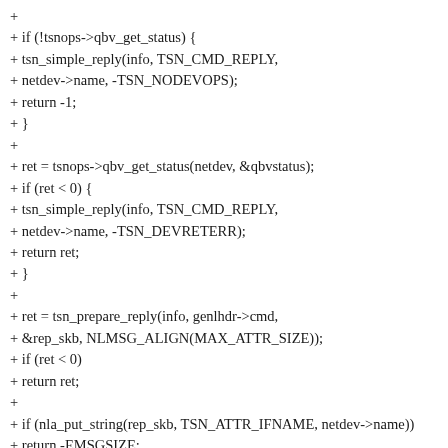+
+ if (!tsnops->qbv_get_status) {
+ tsn_simple_reply(info, TSN_CMD_REPLY,
+ netdev->name, -TSN_NODEVOPS);
+ return -1;
+ }
+
+ ret = tsnops->qbv_get_status(netdev, &qbvstatus);
+ if (ret < 0) {
+ tsn_simple_reply(info, TSN_CMD_REPLY,
+ netdev->name, -TSN_DEVRETERR);
+ return ret;
+ }
+
+ ret = tsn_prepare_reply(info, genlhdr->cmd,
+ &rep_skb, NLMSG_ALIGN(MAX_ATTR_SIZE));
+ if (ret < 0)
+ return ret;
+
+ if (nla_put_string(rep_skb, TSN_ATTR_IFNAME, netdev->name))
+ return -EMSGSIZE;
+
+ qbv = nla_nest_start(rep_skb, TSN_ATTR_QBV);
+ if (!qbv)